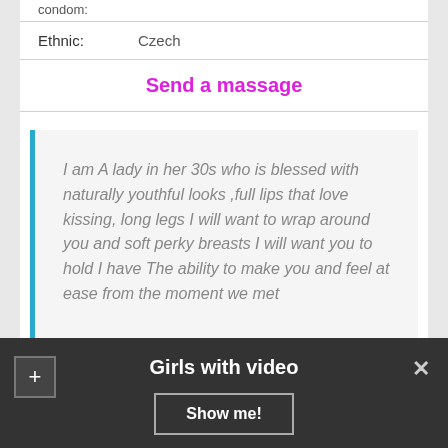condom:
Ethnic: Czech
Send a massage
I am A lady in her 30s who is blessed with naturally youthful looks ,full lips that love kissing, long legs I will want to wrap around you and soft perky breasts I will want you to hold I have The ability to make you and feel at ease from the moment we met
Robert
Girls with video
Show me!